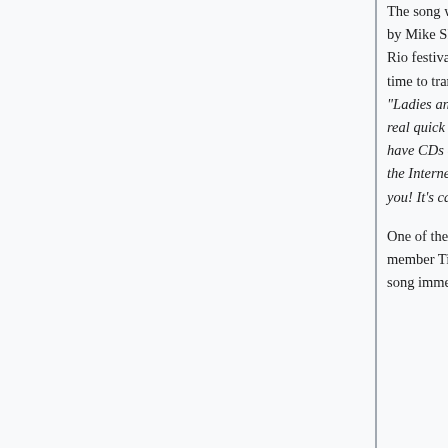The song was given away to fans in the form of a burned CD thrown by Mike Shinoda during Linkin Park's performance at the Rock In Rio festival in Lisbon, Portugal on May 30, 2014.[7] When it came time to transition from "Runaway" into "Wastelands", Mike said, "Ladies and gentlemen right about now, I'm going to skip this part real quick because I want to tell you guys something. In my pocket I have CDs of our brand new song that is not out yet. This is not out on the Internet, you can't buy it, it's sitting right here in my hands. It's for you! It's called "Wastelands"!"[8]
One of the CDs was caught by well-known Linkin Park community member Tiago Rodrigues from Linkin Park Portugal. He uploaded the song immediately to YouTube after the